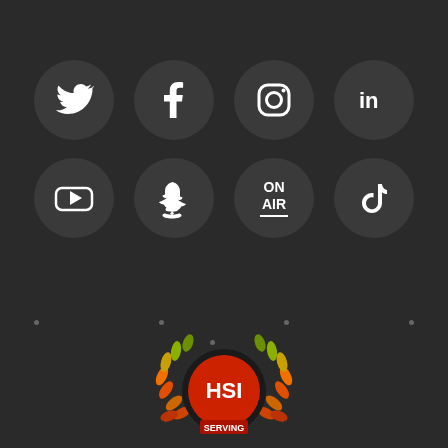[Figure (infographic): Social media icons grid: Twitter, Facebook, Instagram, LinkedIn (top row); YouTube, Snapchat, On Air, TikTok (bottom row) — all white icons on dark grey circular backgrounds on a dark background. Below the icons are small grey dots arranged in a loose pattern. At the bottom center is the HSI logo with laurel wreath, red circle, and text SERVING.]